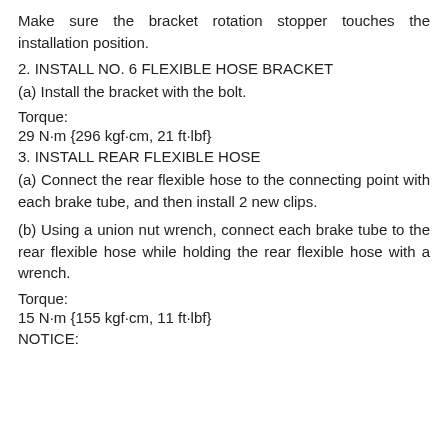Make sure the bracket rotation stopper touches the installation position.
2. INSTALL NO. 6 FLEXIBLE HOSE BRACKET
(a) Install the bracket with the bolt.
Torque:
29 N·m {296 kgf·cm, 21 ft·lbf}
3. INSTALL REAR FLEXIBLE HOSE
(a) Connect the rear flexible hose to the connecting point with each brake tube, and then install 2 new clips.
(b) Using a union nut wrench, connect each brake tube to the rear flexible hose while holding the rear flexible hose with a wrench.
Torque:
15 N·m {155 kgf·cm, 11 ft·lbf}
NOTICE: